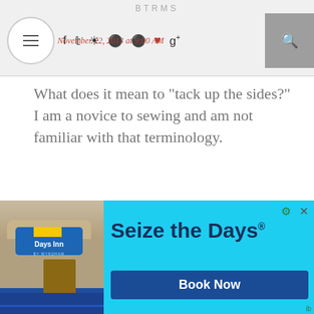BTRMS
November 22, 2013 at 9:00 AM
What does it mean to "tack up the sides?" I am a novice to sewing and am not familiar with that terminology.
Reply
▾ Replies
BRYMJ
November 25, 2013 at 12:32 PM
If you choose not to cut the extra fabric off, 'tacking up' is hand
[Figure (photo): Days Inn hotel advertisement banner with photo of hotel exterior and 'Seize the Days' headline with Book Now button]